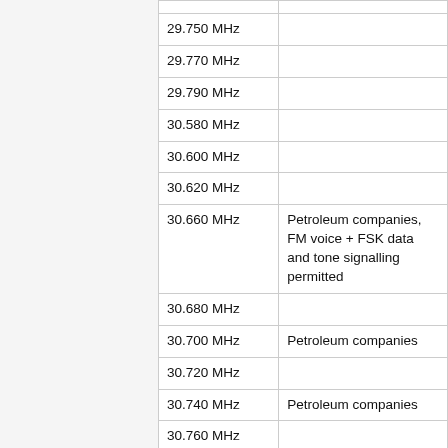| Frequency | Description |
| --- | --- |
| 29.750 MHz |  |
| 29.770 MHz |  |
| 29.790 MHz |  |
| 30.580 MHz |  |
| 30.600 MHz |  |
| 30.620 MHz |  |
| 30.660 MHz | Petroleum companies, FM voice + FSK data and tone signalling permitted |
| 30.680 MHz |  |
| 30.700 MHz | Petroleum companies |
| 30.720 MHz |  |
| 30.740 MHz | Petroleum companies |
| 30.760 MHz |  |
| 30.780 MHz | Petroleum companies |
| 30.800 MHz |  |
| 30.820 MHz | Petroleum companies |
| 30.840 MHz | Mobile use only, 2 watts |